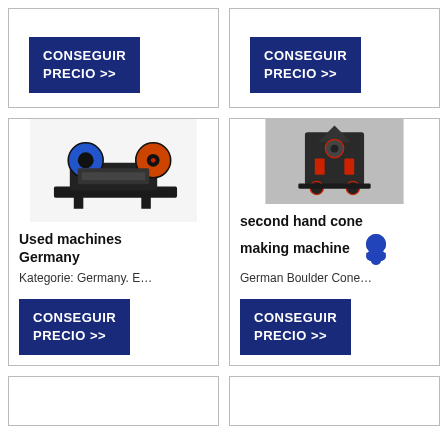[Figure (other): Top-left card: dark navy CONSEGUIR PRECIO >> button visible at bottom of a product card]
[Figure (other): Top-right card: dark navy CONSEGUIR PRECIO >> button visible at bottom of a product card]
[Figure (photo): Used industrial crusher machine - black with blue and orange/red wheels, photographed on white background]
Used machines Germany
Kategorie: Germany. E…
[Figure (photo): Cone crushing machine in industrial factory setting - large dark grey industrial equipment with red accents]
second hand cone making machine
German Boulder Cone…
[Figure (other): Bottom-left card: partially visible product card]
[Figure (other): Bottom-right card: partially visible product card]